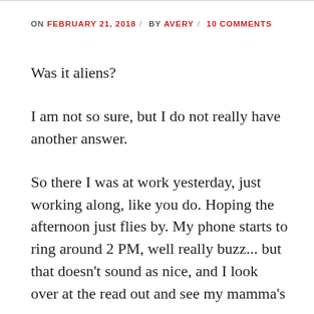ON FEBRUARY 21, 2018 / BY AVERY / 10 COMMENTS
Was it aliens?
I am not so sure, but I do not really have another answer.
So there I was at work yesterday, just working along, like you do. Hoping the afternoon just flies by. My phone starts to ring around 2 PM, well really buzz... but that doesn't sound as nice, and I look over at the read out and see my mamma's name.
I answer the phone. Always answer the phone when